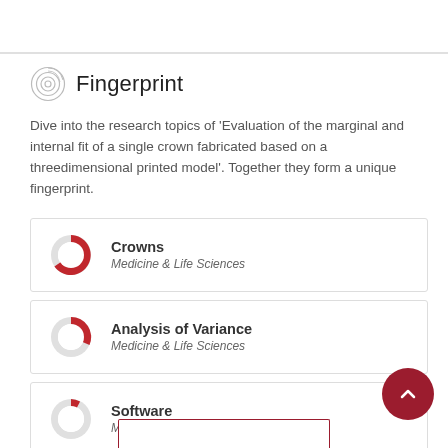Fingerprint
Dive into the research topics of 'Evaluation of the marginal and internal fit of a single crown fabricated based on a threedimensional printed model'. Together they form a unique fingerprint.
[Figure (infographic): Donut chart for Crowns topic, Medicine & Life Sciences, high fill (~85%)]
Crowns
Medicine & Life Sciences
[Figure (infographic): Donut chart for Analysis of Variance topic, Medicine & Life Sciences, medium fill (~45%)]
Analysis of Variance
Medicine & Life Sciences
[Figure (infographic): Donut chart for Software topic, Medicine & Life Sciences, low fill (~15%)]
Software
Medicine & Life Sciences